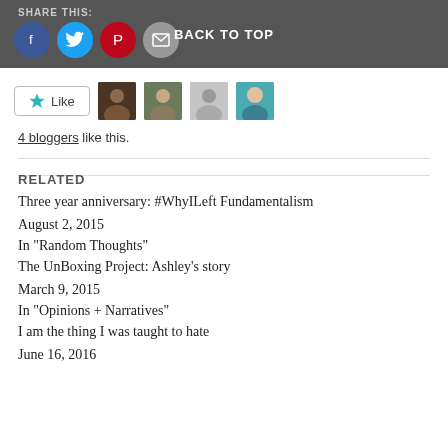SHARE THIS:   BACK TO TOP
[Figure (illustration): Social sharing icons: Facebook (blue circle), Twitter (blue circle), Pinterest (red circle), Email (grey circle), and a 'Back to Top' link centered in a dark grey bar]
[Figure (illustration): Like button with star icon, followed by four blogger avatar thumbnails]
4 bloggers like this.
RELATED
Three year anniversary: #WhyILeft Fundamentalism
August 2, 2015
In "Random Thoughts"
The UnBoxing Project: Ashley’s story
March 9, 2015
In "Opinions + Narratives"
I am the thing I was taught to hate
June 16, 2016